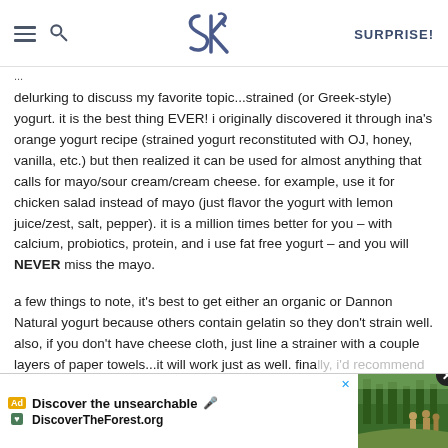SK | SURPRISE!
delurking to discuss my favorite topic...strained (or Greek-style) yogurt. it is the best thing EVER! i originally discovered it through ina's orange yogurt recipe (strained yogurt reconstituted with OJ, honey, vanilla, etc.) but then realized it can be used for almost anything that calls for mayo/sour cream/cream cheese. for example, use it for chicken salad instead of mayo (just flavor the yogurt with lemon juice/zest, salt, pepper). it is a million times better for you – with calcium, probiotics, protein, and i use fat free yogurt – and you will NEVER miss the mayo.
a few things to note, it's best to get either an organic or Dannon Natural yogurt because others contain gelatin so they don't strain well. also, if you don't have cheese cloth, just line a strainer with a couple layers of paper towels...it will work just as well. fina... to putting a... and
[Figure (other): Advertisement overlay at bottom of page: 'Discover the unsearchable / DiscoverTheForest.org' with forest photo, Ad badge, close button, and Twitter X icon]